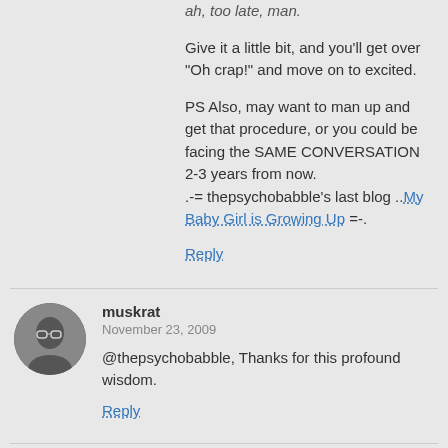ah, too late, man.
Give it a little bit, and you'll get over "Oh crap!" and move on to excited.
PS Also, may want to man up and get that procedure, or you could be facing the SAME CONVERSATION 2-3 years from now.
.-= thepsychobabble's last blog ..My Baby Girl is Growing Up =-.
Reply
muskrat
November 23, 2009
@thepsychobabble, Thanks for this profound wisdom.
Reply
Nancy at Fear and Parenting in Las Vegas
November 23, 2009
Congrats, Dude to you and your lovely wife.